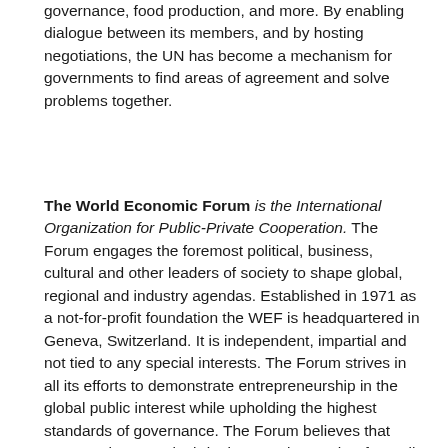governance, food production, and more. By enabling dialogue between its members, and by hosting negotiations, the UN has become a mechanism for governments to find areas of agreement and solve problems together.
The World Economic Forum is the International Organization for Public-Private Cooperation. The Forum engages the foremost political, business, cultural and other leaders of society to shape global, regional and industry agendas. Established in 1971 as a not-for-profit foundation the WEF is headquartered in Geneva, Switzerland. It is independent, impartial and not tied to any special interests. The Forum strives in all its efforts to demonstrate entrepreneurship in the global public interest while upholding the highest standards of governance. The Forum believes that progress happens by bringing people together from all walks of life who have the drive and the influence to